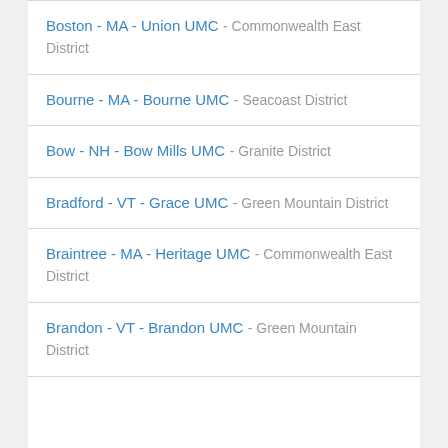Boston - MA - Union UMC - Commonwealth East District
Bourne - MA - Bourne UMC - Seacoast District
Bow - NH - Bow Mills UMC - Granite District
Bradford - VT - Grace UMC - Green Mountain District
Braintree - MA - Heritage UMC - Commonwealth East District
Brandon - VT - Brandon UMC - Green Mountain District